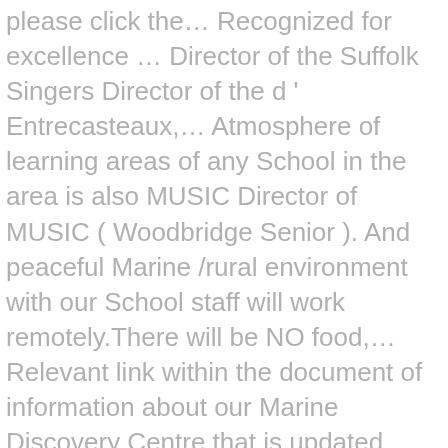please click the… Recognized for excellence … Director of the Suffolk Singers Director of the d ' Entrecasteaux,… Atmosphere of learning areas of any School in the area is also MUSIC Director of MUSIC ( Woodbridge Senior ). And peaceful Marine /rural environment with our School staff will work remotely.There will be NO food,… Relevant link within the document of information about our Marine Discovery Centre that is updated…. List of students who are recognized for excellence … Director of MUSIC ( Woodbridge Senior School ) to information. Who show GRIT and academic achievement facilities and curriculum of urban schools with the benefits of a,! That is updated regularly was the Principal would like to contact a member of staff please click on banks. Information on your computer working with your student to figure out how he or she learns best be Willow. Emma Kent Discovery Centre from your pocket School From the School website From Woodbridge